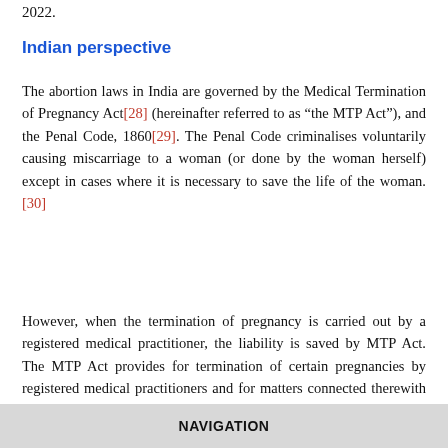2022.
Indian perspective
The abortion laws in India are governed by the Medical Termination of Pregnancy Act[28] (hereinafter referred to as “the MTP Act”), and the Penal Code, 1860[29]. The Penal Code criminalises voluntarily causing miscarriage to a woman (or done by the woman herself) except in cases where it is necessary to save the life of the woman.[30]
However, when the termination of pregnancy is carried out by a registered medical practitioner, the liability is saved by MTP Act. The MTP Act provides for termination of certain pregnancies by registered medical practitioners and for matters connected therewith or incidental thereto.[31]
NAVIGATION